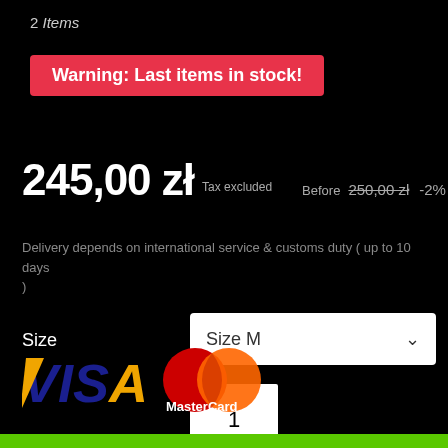2 Items
Warning: Last items in stock!
245,00 zł  Tax excluded  Before  250,00 zł  -2%
Delivery depends on international service & customs duty ( up to 10 days )
Size    Size M
1
[Figure (logo): VISA and MasterCard payment logos]